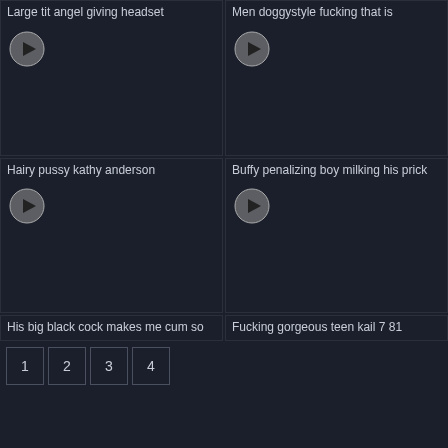Large tit angel giving headset
Men doggystyle fucking that is
[Figure (screenshot): Video thumbnail with play button - dark background]
[Figure (screenshot): Video thumbnail with play button - dark background]
Hairy pussy kathy anderson
Buffy penalizing boy milking his prick
[Figure (screenshot): Video thumbnail with play button - dark background]
[Figure (screenshot): Video thumbnail with play button - dark background]
His big black cock makes me cum so
Fucking gorgeous teen kail 7 81
1
2
3
4